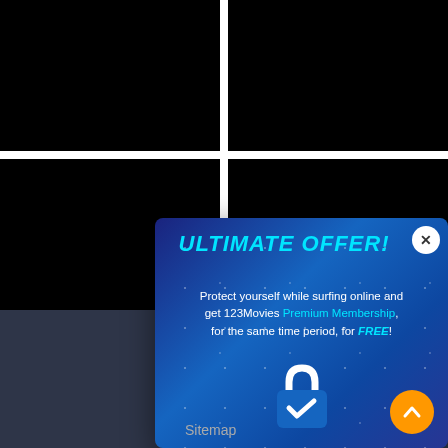[Figure (screenshot): Grid of four black video thumbnail cells separated by white gaps, forming a 2x2 grid layout on a light gray background]
[Figure (screenshot): Dark navy/slate website footer area with Subscribe label, email input field, and Sitemap link]
[Figure (infographic): Popup advertisement overlay with dark blue gradient background, close button, title ULTIMATE OFFER!, promotional text about 123Movies Premium Membership, lock icon with checkmark, and orange scroll-to-top button]